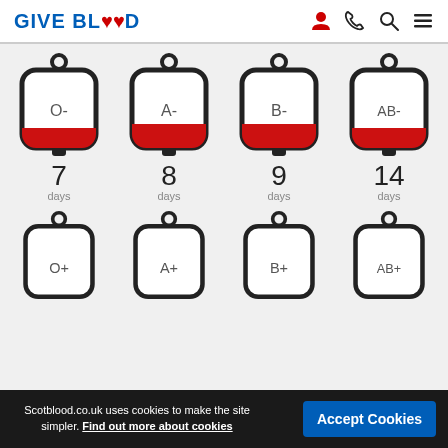GIVE BLOOD
[Figure (infographic): Eight blood bag icons arranged in two rows of four. Top row shows blood types O-, A-, B-, AB- with red blood at bottom and day counts: 7 days, 8 days, 9 days, 14 days. Bottom row shows O+, A+, B+, AB+ blood types (partially visible, no day counts shown).]
Scotblood.co.uk uses cookies to make the site simpler. Find out more about cookies  Accept Cookies